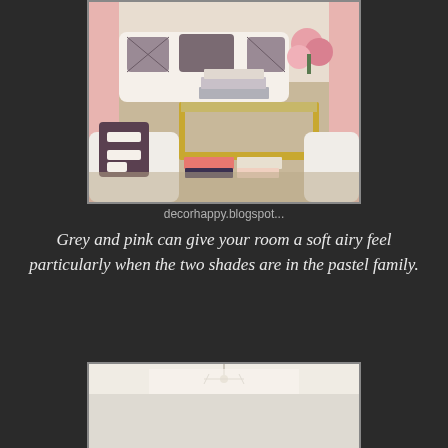[Figure (photo): Interior living room photo showing white sofas, decorative pillows in grey and purple patterns, a glass and gold coffee table stacked with books, pink floral arrangement, pink curtains in background, on a natural fiber rug.]
decorhappy.blogspot...
Grey and pink can give your room a soft airy feel particularly when the two shades are in the pastel family.
[Figure (photo): Partial view of a room with white/cream decor, chandelier visible, soft light tones.]